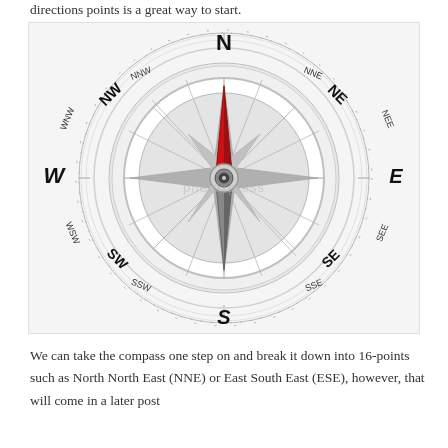directions points is a great way to start.
[Figure (illustration): A detailed compass rose illustration showing 16 compass points including N, NNE, NE, ENE, E, ESE, SE, SSE, S, SSW, SW, WSW, W, WNW, NW, NNW. The compass has a red and grey needle pointing north, with graduated tick marks around the outer ring. Watermark text 'photoxpress' visible.]
We can take the compass one step on and break it down into 16-points such as North North East (NNE) or East South East (ESE), however, that will come in a later post